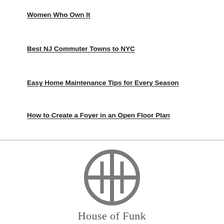Women Who Own It
Best NJ Commuter Towns to NYC
Easy Home Maintenance Tips for Every Season
How to Create a Foyer in an Open Floor Plan
[Figure (logo): House of Funk circular logo with a divided circle icon]
House of Funk